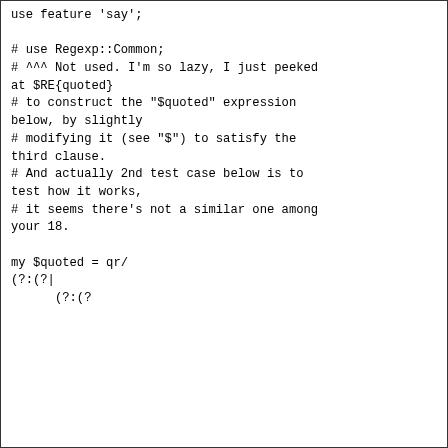use feature 'say';

# use Regexp::Common;
# ^^^ Not used. I'm so lazy, I just peeked
at $RE{quoted}
# to construct the "$quoted" expression
below, by slightly
# modifying it (see "$") to satisfy the
third clause.
# And actually 2nd test case below is to
test how it works,
# it seems there's not a similar one among
your 18.

my $quoted = qr/
(?:(?|
      (?:(?<!\\)\")(? :[^\\"]*(?:\\.[^\\"]*)*)(? :  \"|$)|
      (?:(?<!\\)\')(? :[^\\']*(?:\\.[^\\']*)*)(? :\' |$)
))
/x;

my $re = qr/(?:$quoted|[^ ])+\K(?:  |$)/;

my @tests = (
      q(This 'isn\'t nice.'),
      q(This 'isn\'t nice.),
      q(This \"isnt unnice.\"),
);